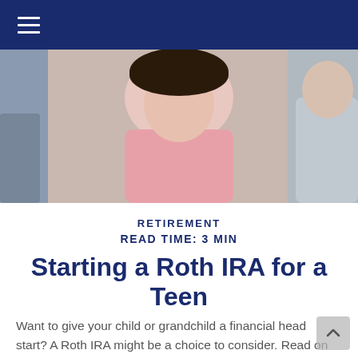Navigation bar with hamburger menu icon
[Figure (photo): A photo of a young woman in a pink top seated at a desk, with another person partially visible on the right, in a classroom or office setting.]
RETIREMENT
READ TIME: 3 MIN
Starting a Roth IRA for a Teen
Want to give your child or grandchild a financial head start? A Roth IRA might be a choice to consider. Read on to learn more about how doing this may benefit both of you.